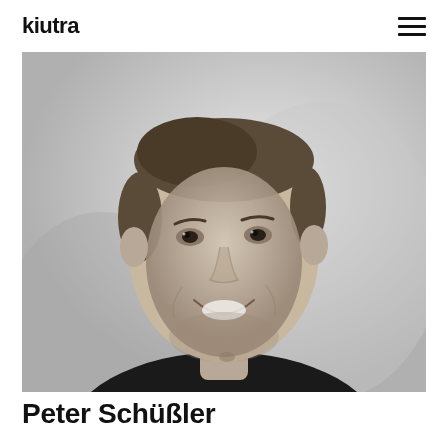kiutra
[Figure (photo): Black and white portrait photo of a smiling young man with short hair, wearing a dark t-shirt, against a light gradient background.]
Peter Schüßler